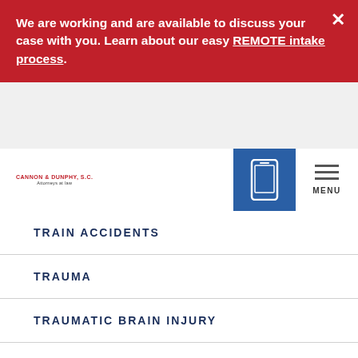We are working and are available to discuss your case with you. Learn about our easy REMOTE intake process.
[Figure (logo): Cannon & Dunphy S.C. Attorneys at Law logo]
[Figure (illustration): Mobile phone icon on blue background]
TRAIN ACCIDENTS
TRAUMA
TRAUMATIC BRAIN INJURY
TRUCK ACCIDENTS